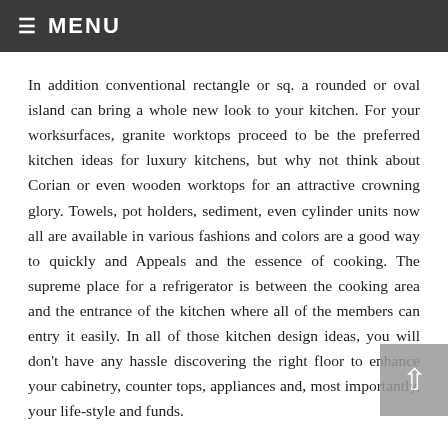☰ MENU
In addition conventional rectangle or sq. a rounded or oval island can bring a whole new look to your kitchen. For your worksurfaces, granite worktops proceed to be the preferred kitchen ideas for luxury kitchens, but why not think about Corian or even wooden worktops for an attractive crowning glory. Towels, pot holders, sediment, even cylinder units now all are available in various fashions and colors are a good way to quickly and Appeals and the essence of cooking. The supreme place for a refrigerator is between the cooking area and the entrance of the kitchen where all of the members can entry it easily. In all of those kitchen design ideas, you will don't have any hassle discovering the right floor to enhance your cabinetry, counter tops, appliances and, most importantly, your life-style and funds.